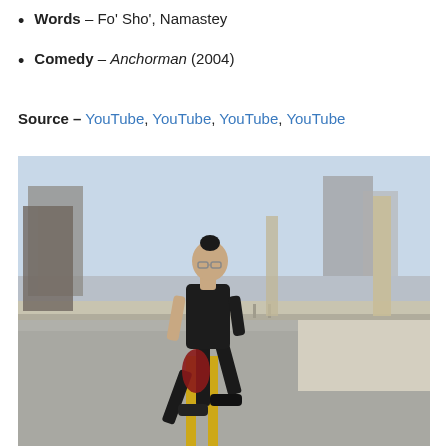Words – Fo' Sho', Namastey
Comedy – Anchorman (2004)
Source – YouTube, YouTube, YouTube, YouTube
[Figure (photo): A young Asian man with a top-knot hairstyle and glasses wearing a black t-shirt and black jeans, carrying a red flannel tied around his waist, walking across an urban road with yellow lane lines. City skyline and bridge visible in background.]